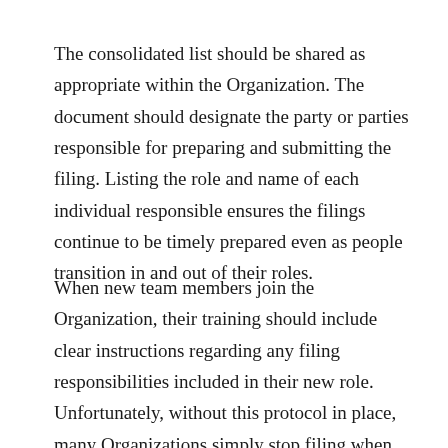The consolidated list should be shared as appropriate within the Organization. The document should designate the party or parties responsible for preparing and submitting the filing. Listing the role and name of each individual responsible ensures the filings continue to be timely prepared even as people transition in and out of their roles.
When new team members join the Organization, their training should include clear instructions regarding any filing responsibilities included in their new role. Unfortunately, without this protocol in place, many Organizations simply stop filing when the individual historically responsible for the filing moves on.